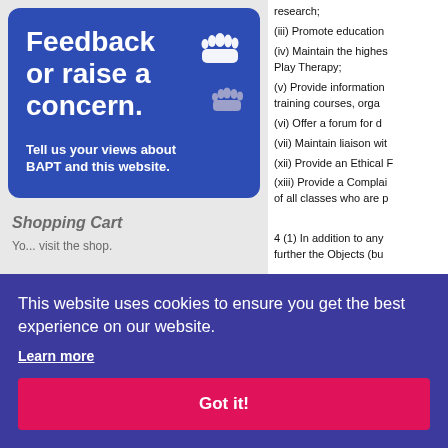[Figure (illustration): Blue feedback/concern card with hand icons]
Feedback or raise a concern.
Tell us your views about BAPT and this website.
Shopping Cart
You... visit the shop.
research;
(iii) Promote education...
(iv) Maintain the highe... Play Therapy;
(v) Provide information... training courses, orga...
(vi) Offer a forum for d...
(vii) Maintain liaison wit...
(xii) Provide an Ethical F...
(xiii) Provide a Complai... of all classes who are p...

4 (1) In addition to any... further the Objects (bu...

(a) to raise funds. In do... activity and must comp...
(b) to buy, take on leas... equip it for use;
(c) to sell, lease or othe... exercising this power, t... Act 199;
(d) to borrow money a... security for repayment... 38 and 39 of the Charit...
This website uses cookies to ensure you get the best experience on our website.
Learn more
Got it!